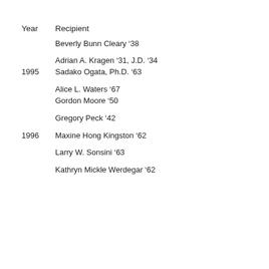| Year | Recipient |
| --- | --- |
|  | Beverly Bunn Cleary ’38 |
|  | Adrian A. Kragen ’31, J.D. ’34 |
| 1995 | Sadako Ogata, Ph.D. ’63 |
|  | Alice L. Waters ’67 |
|  | Gordon Moore ’50 |
|  | Gregory Peck ’42 |
| 1996 | Maxine Hong Kingston ’62 |
|  | Larry W. Sonsini ’63 |
|  | Kathryn Mickle Werdegar ’62 |